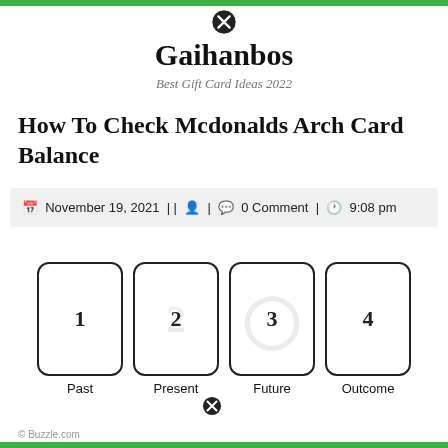Gaihanbos - Best Gift Card Ideas 2022
How To Check Mcdonalds Arch Card Balance
November 19, 2021 | | | 0 Comment | 9:08 pm
[Figure (illustration): Four playing-card style cards numbered 1, 2, 3, 4 arranged in a row, labeled Past, Present, Future, Outcome beneath each card respectively. Card 2 has a faint watermark, card 3 has a faint circular watermark.]
© Buzzle.com